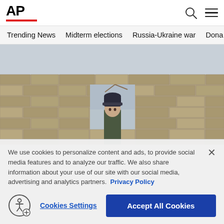[Figure (logo): AP (Associated Press) logo in bold black letters with a red underline bar]
Trending News  Midterm elections  Russia-Ukraine war  Dona
[Figure (photo): A young person wearing a dark knit beanie hat stands in the opening of a ruined stone wall, with a grey sky visible behind them. The surrounding structure is heavily damaged brick/stone masonry.]
We use cookies to personalize content and ads, to provide social media features and to analyze our traffic. We also share information about your use of our site with our social media, advertising and analytics partners. Privacy Policy
Cookies Settings
Accept All Cookies